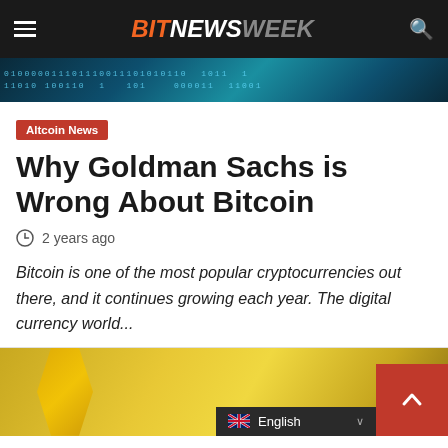BITNEWSWEEK
[Figure (photo): Binary code banner with teal/blue gradient background showing rows of 0s and 1s]
Altcoin News
Why Goldman Sachs is Wrong About Bitcoin
2 years ago
Bitcoin is one of the most popular cryptocurrencies out there, and it continues growing each year. The digital currency world...
[Figure (photo): Bottom image with yellow/gold background showing partial illustration, scroll-to-top button, and English language selector]